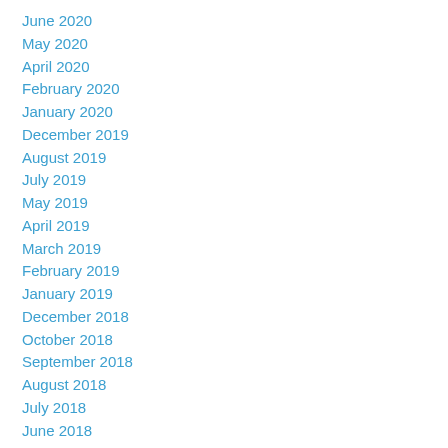June 2020
May 2020
April 2020
February 2020
January 2020
December 2019
August 2019
July 2019
May 2019
April 2019
March 2019
February 2019
January 2019
December 2018
October 2018
September 2018
August 2018
July 2018
June 2018
May 2018